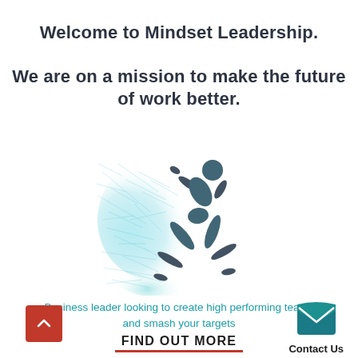Welcome to Mindset Leadership.
We are on a mission to make the future of work better.
[Figure (illustration): A digital/particle art illustration of a runner in sprint start position, with blue teal particle/mesh trail streaming behind them, suggesting energy and momentum.]
Business leader looking to create high performing teams and smash your targets
FIND OUT MORE
[Figure (infographic): Teal envelope icon (open envelope shape) representing a contact/email button.]
Contact Us